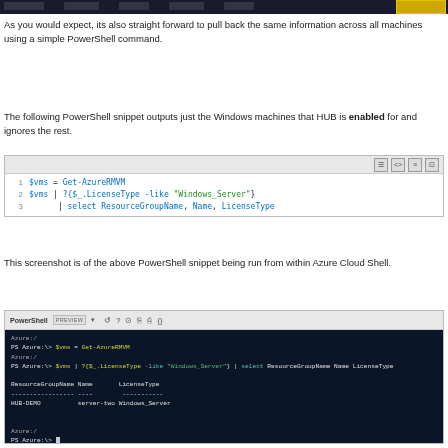[Figure (screenshot): Dark navigation bar/header screenshot from a web application with a yellow highlighted tab on the right]
As you would expect, its also straight forward to pull back the same information across all machines using a simple PowerShell command.
The following PowerShell snippet outputs just the Windows machines that HUB is enabled for and ignores the rest.
[Figure (screenshot): Code block showing 3 lines of PowerShell: 1. $vms = Get-AzureRMVM, 2. $vms | ?{$_.LicenseType -like "Windows_Server"}, 3. | select ResourceGroupName, Name, LicenseType]
This screenshot is of the above PowerShell snippet being run from within Azure Cloud Shell.
[Figure (screenshot): Azure Cloud Shell PowerShell terminal showing execution of Get-AzureRMVM and filter commands, with output showing HUB-DEMO server-two Windows_Server]